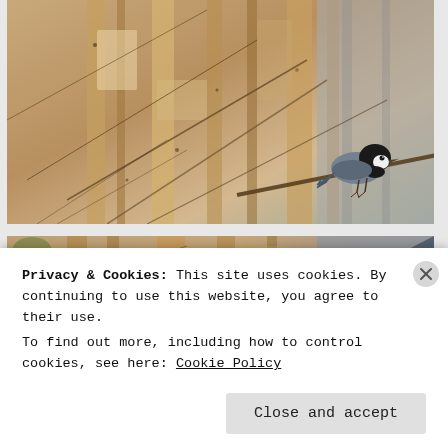[Figure (photo): A small black-capped chickadee bird perched on the peeling bark of a dead tree trunk, with bare twigs and branches visible in the background. Natural outdoor photography with warm tan/brown tones.]
[Figure (photo): A second photo showing a similar dead tree trunk with peeling bark and bare branches, likely the same scene or nearby location. A dark bird shape is visible at the right edge.]
Privacy & Cookies: This site uses cookies. By continuing to use this website, you agree to their use.
To find out more, including how to control cookies, see here: Cookie Policy
Close and accept